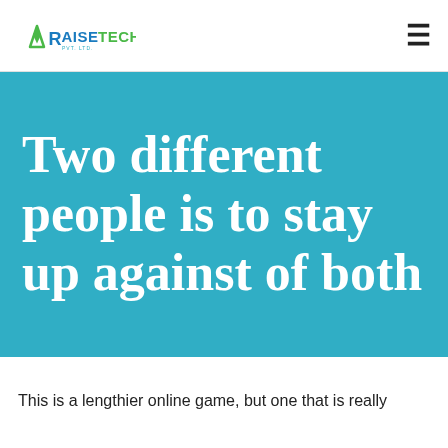RAISE TECH PVT. LTD.
Two different people is to stay up against of both
This is a lengthier online game, but one that is really